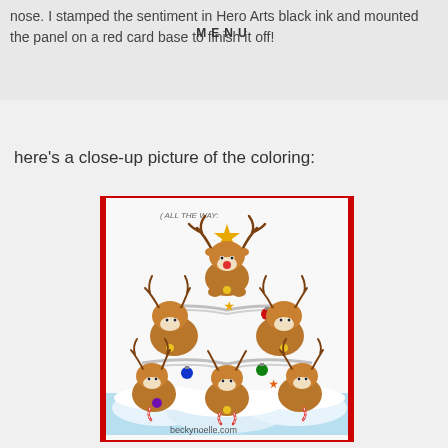nose. I stamped the sentiment in Hero Arts black ink and mounted the panel on a red card base to finish it off!
here's a close-up picture of the coloring:
[Figure (photo): Close-up photo of a stamped and colored Christmas card featuring cute cartoon reindeer stacked in a Christmas tree pyramid shape. Six reindeer total, forming a triangle. The top reindeer has a red nose and a gold star above its head. Middle row has two reindeer holding a garland with a gold star and red ornament. Bottom row has three reindeer with blue and green ornaments, candy canes, and an orange star. Background is white with a light blue snow ground. Red border on card edges. Text at top reads 'ALL THE WAY:' and bottom reads 'beckynoelle.com']